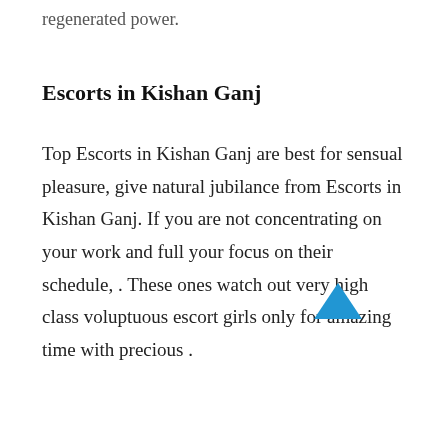regenerated power.
Escorts in Kishan Ganj
Top Escorts in Kishan Ganj are best for sensual pleasure, give natural jubilance from Escorts in Kishan Ganj. If you are not concentrating on your work and full your focus on their schedule, . These ones watch out very high class voluptuous escort girls only for amazing time with precious .